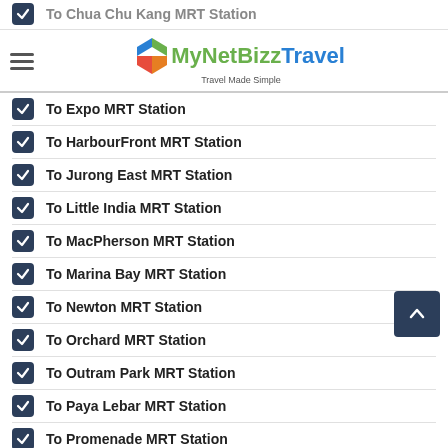To Chua Chu Kang MRT Station
MyNetBizz Travel — Travel Made Simple
To Expo MRT Station
To HarbourFront MRT Station
To Jurong East MRT Station
To Little India MRT Station
To MacPherson MRT Station
To Marina Bay MRT Station
To Newton MRT Station
To Orchard MRT Station
To Outram Park MRT Station
To Paya Lebar MRT Station
To Promenade MRT Station
To Punggol MRT Station